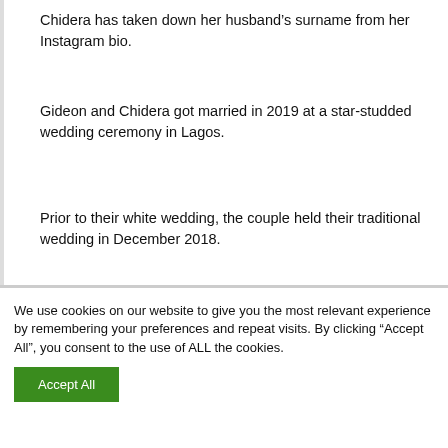Chidera has taken down her husband’s surname from her Instagram bio.
Gideon and Chidera got married in 2019 at a star-studded wedding ceremony in Lagos.
Prior to their white wedding, the couple held their traditional wedding in December 2018.
Their marriage produced two kids.
We use cookies on our website to give you the most relevant experience by remembering your preferences and repeat visits. By clicking “Accept All”, you consent to the use of ALL the cookies.